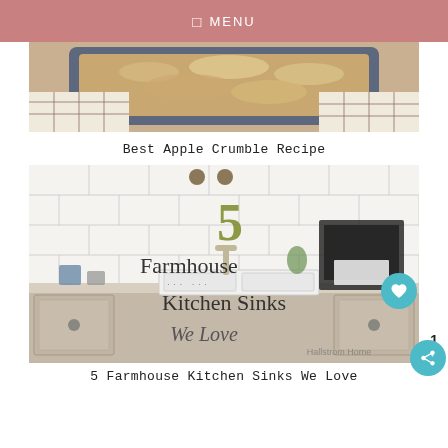MENU
[Figure (photo): Close-up photo of apple crumble in a baking dish with a checkered kitchen towel]
Best Apple Crumble Recipe
[Figure (photo): Farmhouse kitchen with white subway tile backsplash, apron-front sink, and text overlay reading '5 Farmhouse Kitchen Sinks We Love' with Hallstrom Home watermark]
5 Farmhouse Kitchen Sinks We Love